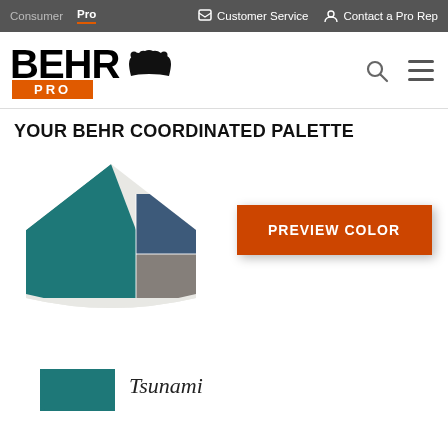Consumer  Pro  |  Customer Service  Contact a Pro Rep
[Figure (logo): BEHR PRO logo with bear silhouette and orange PRO badge]
YOUR BEHR COORDINATED PALETTE
[Figure (illustration): House-shaped coordinated color palette showing teal/teal-green main color on left, slate blue upper right, gray lower right, and light gray bottom panel]
[Figure (other): PREVIEW COLOR button in orange]
[Figure (illustration): Teal color chip thumbnail (rounded top)]
Tsunami